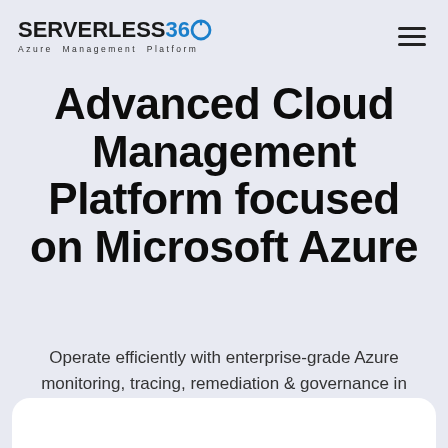[Figure (logo): Serverless360 Azure Management Platform logo with blue circle accent and hamburger menu icon]
Advanced Cloud Management Platform focused on Microsoft Azure
Operate efficiently with enterprise-grade Azure monitoring, tracing, remediation & governance in one platform.